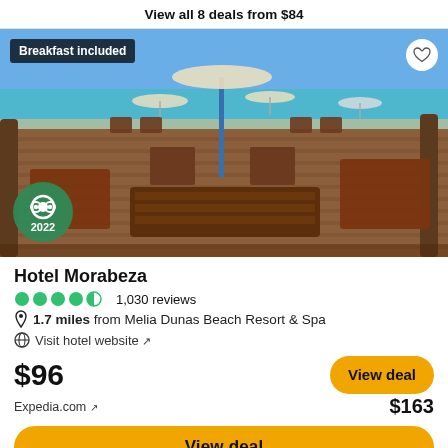View all 8 deals from $84
[Figure (photo): Outdoor beach terrace of Hotel Morabeza with wooden furniture, umbrellas, and turquoise ocean in background. TripAdvisor 2022 badge visible in lower left. 'Breakfast included' badge top left.]
Hotel Morabeza
1,030 reviews
1.7 miles from Melia Dunas Beach Resort & Spa
Visit hotel website ↗
$96
View deal
Expedia.com ↗
$163
View deal